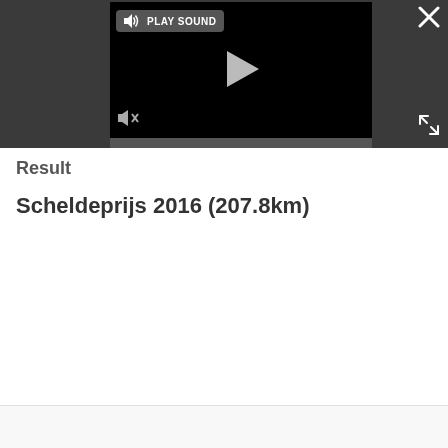[Figure (screenshot): Video player embedded in a dark gray bar. Shows a black video screen with a play triangle button in the center, a 'PLAY SOUND' button with speaker icon in the top-left of the video, a muted speaker icon in the bottom-left, a close (X) button in the top-right of the bar, and an expand (fullscreen) button in the bottom-right of the bar. A scrollbar is visible below the video.]
Result
Scheldeprijs 2016 (207.8km)